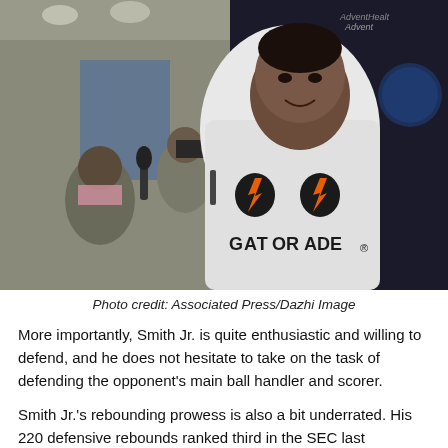[Figure (photo): A young basketball player draped in a white Gatorade towel speaks to reporters/media at a press conference in front of a dark backdrop with AdventHealth and Amway Center logos. Other people including a man with a pink mask are visible in the background.]
Photo credit: Associated Press/Dazhi Image
More importantly, Smith Jr. is quite enthusiastic and willing to defend, and he does not hesitate to take on the task of defending the opponent's main ball handler and scorer.
Smith Jr.'s rebounding prowess is also a bit underrated. His 220 defensive rebounds ranked third in the SEC last